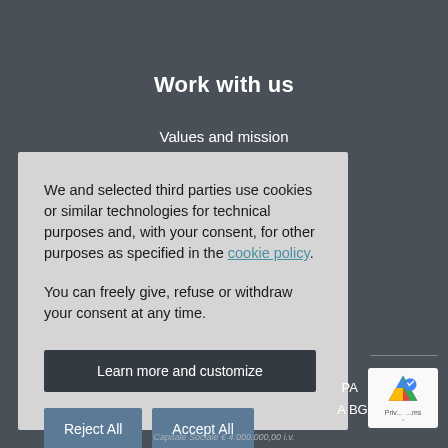Work with us
Values and mission
We and selected third parties use cookies or similar technologies for technical purposes and, with your consent, for other purposes as specified in the cookie policy.

You can freely give, refuse or withdraw your consent at any time.
Learn more and customize
Reject All
Accept All
Capitale Sociale € 4.000.000,00 i.v.